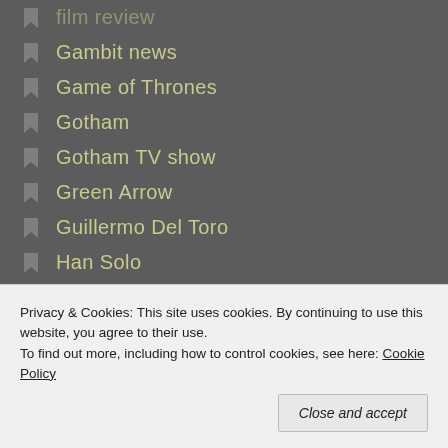film review
Gambit news
Game of Thrones
Gotham
Gotham TV show
Green Arrow
Guillermo Del Toro
Han Solo
hip hop
Hitman
Hitman: Agent 47
Hollywood
horror film
horror movie
Jessica Jones
Privacy & Cookies: This site uses cookies. By continuing to use this website, you agree to their use.
To find out more, including how to control cookies, see here: Cookie Policy
Close and accept